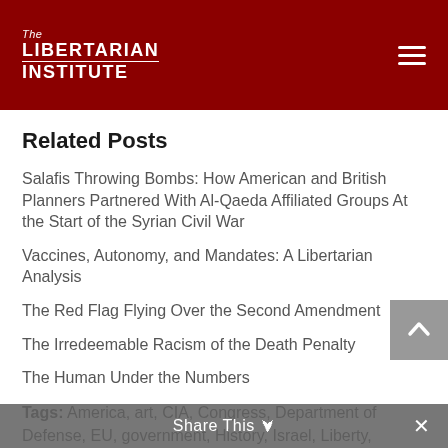The Libertarian Institute
Related Posts
Salafis Throwing Bombs: How American and British Planners Partnered With Al-Qaeda Affiliated Groups At the Start of the Syrian Civil War
Vaccines, Autonomy, and Mandates: A Libertarian Analysis
The Red Flag Flying Over the Second Amendment
The Irredeemable Racism of the Death Penalty
The Human Under the Numbers
Tags: America, art, CIA, Congress, Department of Defense, EU, government, History, Israel, Liberty, military, Reason, RT, spending, state, the state, UK, United States, US, war